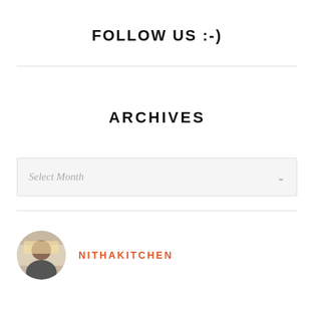FOLLOW US :-)
ARCHIVES
Select Month
NITHAKITCHEN